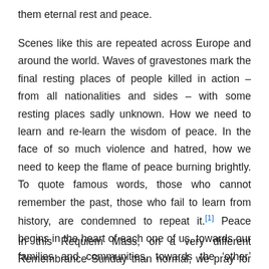them eternal rest and peace.
Scenes like this are repeated across Europe and around the world. Waves of gravestones mark the final resting places of people killed in action – from all nationalities and sides – with some resting places sadly unknown. How we need to learn and re-learn the wisdom of peace. In the face of so much violence and hatred, how we need to keep the flame of peace burning brightly. To quote famous words, those who cannot remember the past, those who fail to learn from history, are condemned to repeat it.[1] Peace begins in the heart of each one of us, towards our families and communities, towards the 'other' whoever they happen to be.
In this Requiem Mass, on a very different Remembrance Sunday than normal, we pray for all who have died